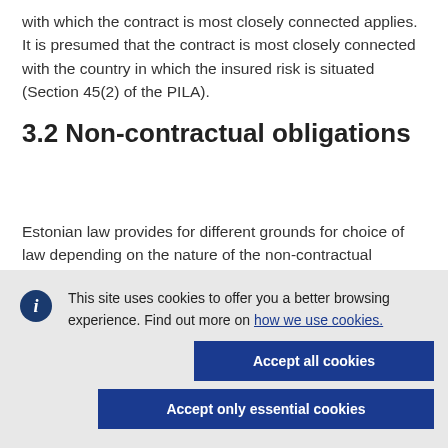with which the contract is most closely connected applies. It is presumed that the contract is most closely connected with the country in which the insured risk is situated (Section 45(2) of the PILA).
3.2 Non-contractual obligations
Estonian law provides for different grounds for choice of law depending on the nature of the non-contractual obligation in
This site uses cookies to offer you a better browsing experience. Find out more on how we use cookies.
Accept all cookies
Accept only essential cookies